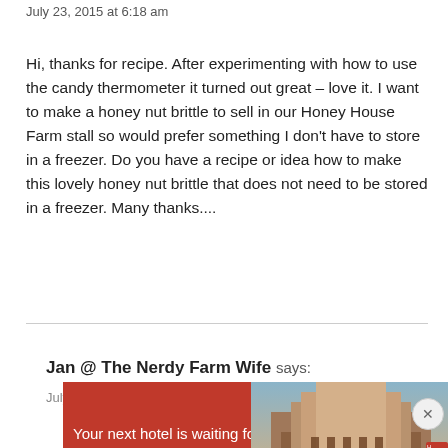July 23, 2015 at 6:18 am
Hi, thanks for recipe. After experimenting with how to use the candy thermometer it turned out great – love it. I want to make a honey nut brittle to sell in our Honey House Farm stall so would prefer something I don't have to store in a freezer. Do you have a recipe or idea how to make this lovely honey nut brittle that does not need to be stored in a freezer. Many thanks....
Jan @ The Nerdy Farm Wife says:
July
[Figure (screenshot): Advertisement banner: red background with text 'Your next hotel is waiting for you' and a landscape photo of a hotel/palace building, with play and close controls at the top]